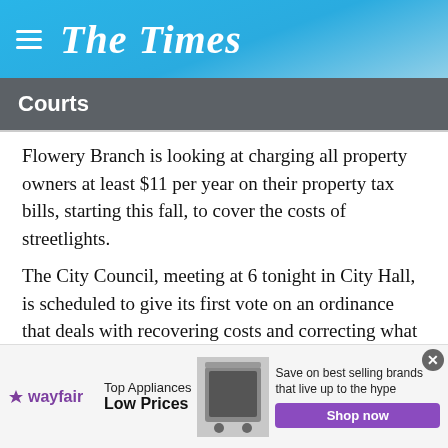The Times
Courts
Flowery Branch is looking at charging all property owners at least $11 per year on their property tax bills, starting this fall, to cover the costs of streetlights.
The City Council, meeting at 6 tonight in City Hall, is scheduled to give its first vote on an ordinance that deals with recovering costs and correcting what has been deemed a longstanding inequity — the city paying for public streetlights in some neighborhoods but not for others.
The ordinance proposes setting up two "special assessment...
[Figure (other): Wayfair advertisement banner: Top Appliances Low Prices, Save on best selling brands that live up to the hype, Shop now button]